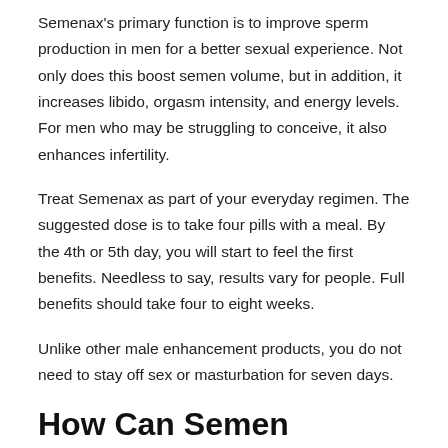Semenax's primary function is to improve sperm production in men for a better sexual experience. Not only does this boost semen volume, but in addition, it increases libido, orgasm intensity, and energy levels. For men who may be struggling to conceive, it also enhances infertility.
Treat Semenax as part of your everyday regimen. The suggested dose is to take four pills with a meal. By the 4th or 5th day, you will start to feel the first benefits. Needless to say, results vary for people. Full benefits should take four to eight weeks.
Unlike other male enhancement products, you do not need to stay off sex or masturbation for seven days.
How Can Semen Volume Factor Into Sex?
It's not a question that we often encounter. However, the answer is